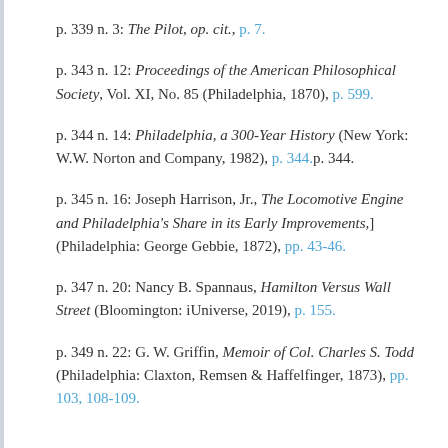p. 339 n. 3: The Pilot, op. cit., p. 7.
p. 343 n. 12: Proceedings of the American Philosophical Society, Vol. XI, No. 85 (Philadelphia, 1870), p. 599.
p. 344 n. 14: Philadelphia, a 300-Year History (New York: W.W. Norton and Company, 1982), p. 344.p. 344.
p. 345 n. 16: Joseph Harrison, Jr., The Locomotive Engine and Philadelphia's Share in its Early Improvements,] (Philadelphia: George Gebbie, 1872), pp. 43-46.
p. 347 n. 20: Nancy B. Spannaus, Hamilton Versus Wall Street (Bloomington: iUniverse, 2019), p. 155.
p. 349 n. 22: G. W. Griffin, Memoir of Col. Charles S. Todd (Philadelphia: Claxton, Remsen & Haffelfinger, 1873), pp. 103, 108-109.